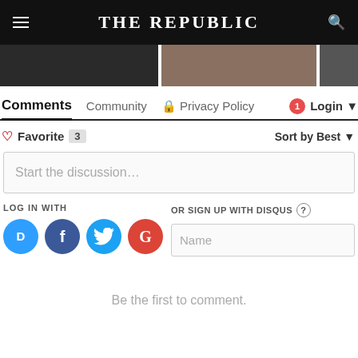THE REPUBLIC
[Figure (photo): Partial image strip showing two cropped photos at the top of the page]
Comments   Community   Privacy Policy   Login
Favorite 3   Sort by Best
Start the discussion…
LOG IN WITH
OR SIGN UP WITH DISQUS
Name
Be the first to comment.